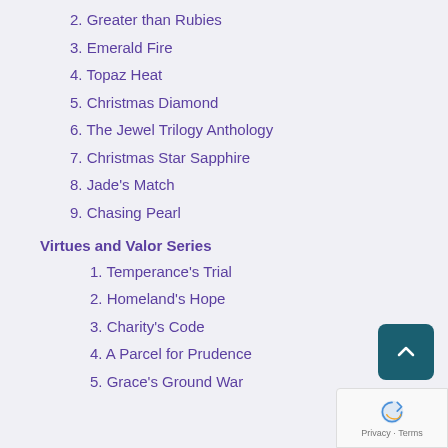2. Greater than Rubies
3. Emerald Fire
4. Topaz Heat
5. Christmas Diamond
6. The Jewel Trilogy Anthology
7. Christmas Star Sapphire
8. Jade's Match
9. Chasing Pearl
Virtues and Valor Series
1. Temperance's Trial
2. Homeland's Hope
3. Charity's Code
4. A Parcel for Prudence
5. Grace's Ground War